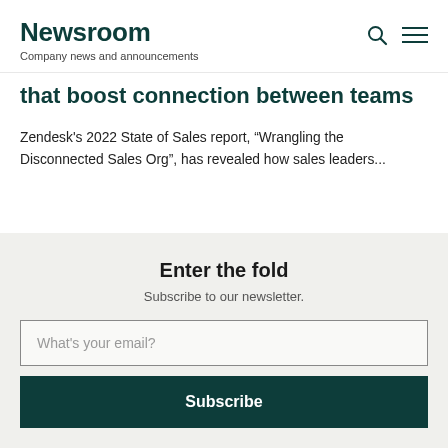Newsroom
Company news and announcements
that boost connection between teams
Zendesk's 2022 State of Sales report, “Wrangling the Disconnected Sales Org”, has revealed how sales leaders...
Enter the fold
Subscribe to our newsletter.
What's your email?
Subscribe